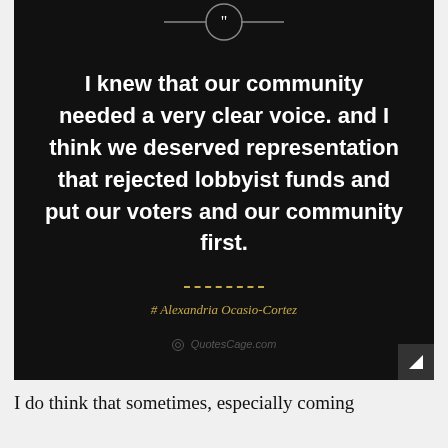[Figure (infographic): Black background quote card with decorative quotation mark icon at top, white quote text, gold dashed divider, gold author attribution, and QuotesCage.com watermark]
I knew that our community needed a very clear voice. and I think we deserved representation that rejected lobbyist funds and put our voters and our community first.
# Alexandria Ocasio-Cortez
QuotesCage.com
I do think that sometimes, especially coming